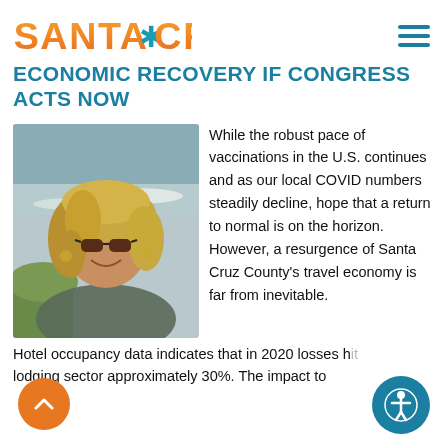SANTA CRUZ
ECONOMIC RECOVERY IF CONGRESS ACTS NOW
[Figure (photo): Portrait photo of a smiling woman with blonde wavy hair wearing sunglasses, outdoors near a coastline with waves and green foliage]
While the robust pace of vaccinations in the U.S. continues and as our local COVID numbers steadily decline, hope that a return to normal is on the horizon. However, a resurgence of Santa Cruz County's travel economy is far from inevitable.
Hotel occupancy data indicates that in 2020 losses hit lodging sector approximately 30%. The impact...